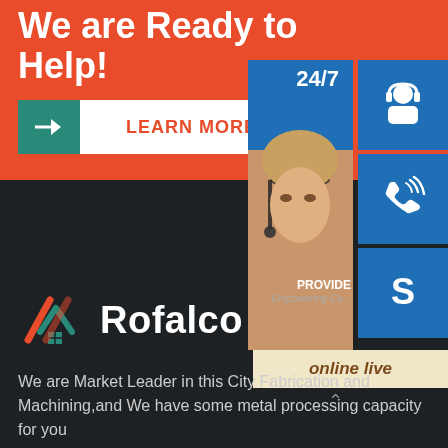We are Ready to Help!
LEARN MORE
[Figure (infographic): Customer service representative with headset, 24/7 support panel with chat, phone, and Skype icons, and online live button]
[Figure (logo): Rofalco company logo with stylized house/roof icon and company name]
We are Market Leader in this City Fabrication and Machining,and We have some metal processing capacity for you